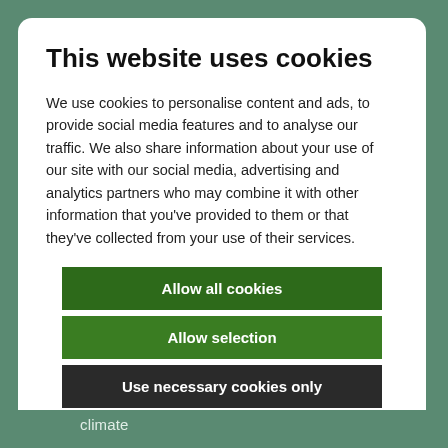This website uses cookies
We use cookies to personalise content and ads, to provide social media features and to analyse our traffic. We also share information about your use of our site with our social media, advertising and analytics partners who may combine it with other information that you've provided to them or that they've collected from your use of their services.
Allow all cookies
Allow selection
Use necessary cookies only
Necessary  Preferences  Statistics  Marketing  Show details